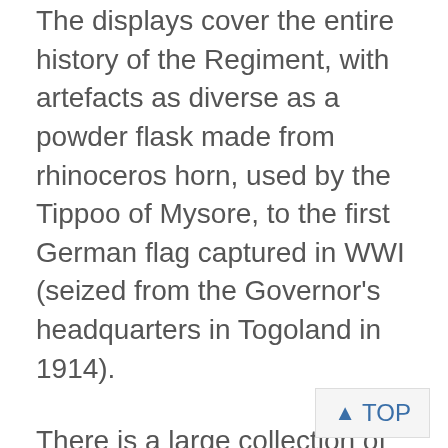The displays cover the entire history of the Regiment, with artefacts as diverse as a powder flask made from rhinoceros horn, used by the Tippoo of Mysore, to the first German flag captured in WWI (seized from the Governor's headquarters in Togoland in 1914).
There is a large collection of military drums and captured weapons, and, as you might expect, a sizeable collection of insignia and badges.
The museum has limited opening hours so it is best to check the official website for current opening times.